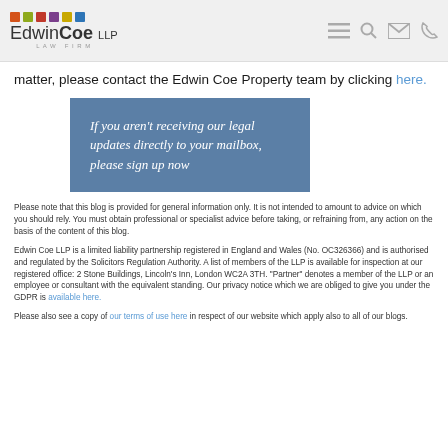Edwin Coe LLP Law Firm
matter, please contact the Edwin Coe Property team by clicking here.
[Figure (infographic): Blue box with italic white text reading: If you aren't receiving our legal updates directly to your mailbox, please sign up now]
Please note that this blog is provided for general information only. It is not intended to amount to advice on which you should rely. You must obtain professional or specialist advice before taking, or refraining from, any action on the basis of the content of this blog.
Edwin Coe LLP is a limited liability partnership registered in England and Wales (No. OC326366) and is authorised and regulated by the Solicitors Regulation Authority. A list of members of the LLP is available for inspection at our registered office: 2 Stone Buildings, Lincoln's Inn, London WC2A 3TH. "Partner" denotes a member of the LLP or an employee or consultant with the equivalent standing. Our privacy notice which we are obliged to give you under the GDPR is available here.
Please also see a copy of our terms of use here in respect of our website which apply also to all of our blogs.